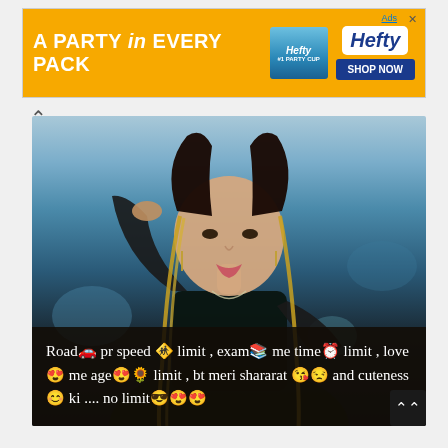[Figure (infographic): Hefty brand advertisement banner with orange background, text 'A PARTY in EVERY PACK', Hefty party cup image and 'SHOP NOW' button]
[Figure (photo): Young woman with long dark and blonde highlighted hair posing with one hand behind her head, wearing a black outfit, blurred outdoor background]
Road🚗 pr speed 🚸 limit , exam📚 me time⏰ limit , love 😍 me age😍🌻 limit , bt meri shararat 😘😒 and cuteness😊 ki .... no limit😎😍😍